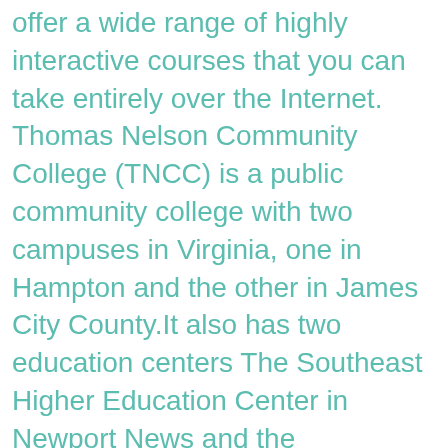offer a wide range of highly interactive courses that you can take entirely over the Internet. Thomas Nelson Community College (TNCC) is a public community college with two campuses in Virginia, one in Hampton and the other in James City County.It also has two education centers The Southeast Higher Education Center in Newport News and the Williamsburg Discovery Center in Williamsburg. Forget your password? MAIN CONTENT. Last Name. Military Financial Assistance Externships Student Support Student Blog TNCC is where a vast amount of people go to right after HS in the area. Academic Search Complete | Opposing Viewpoints. Career Training. This two-year college was established in 1968. Thomas Nelson Community College is a two-year institution of higher education established as a part of a statewide system of community colleges. Chat with a librarian 24/7, take a look at our FAQs,or send us a message. Recently, we kicked off our Nonprofit